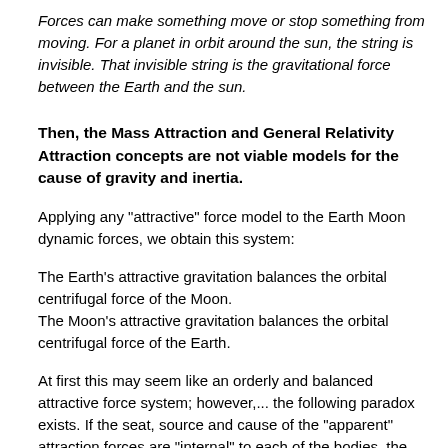Forces can make something move or stop something from moving. For a planet in orbit around the sun, the string is invisible. That invisible string is the gravitational force between the Earth and the sun.
Then, the Mass Attraction and General Relativity Attraction concepts are not viable models for the cause of gravity and inertia.
Applying any "attractive" force model to the Earth Moon dynamic forces, we obtain this system:
The Earth's attractive gravitation balances the orbital centrifugal force of the Moon.
The Moon's attractive gravitation balances the orbital centrifugal force of the Earth.
At first this may seem like an orderly and balanced attractive force system; however,... the following paradox exists. If the seat, source and cause of the "apparent" attraction forces are "internal" to each of the bodies, the attraction concept produces twice the force